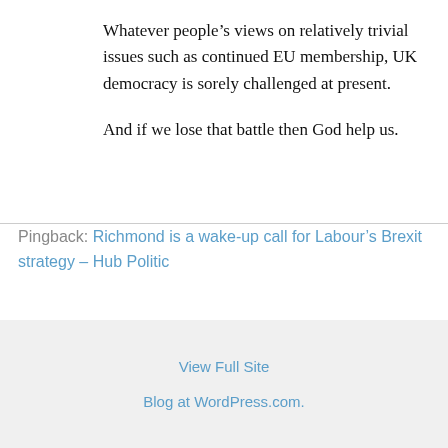Whatever people’s views on relatively trivial issues such as continued EU membership, UK democracy is sorely challenged at present.

And if we lose that battle then God help us.
Pingback: Richmond is a wake-up call for Labour’s Brexit strategy – Hub Politic
View Full Site
Blog at WordPress.com.